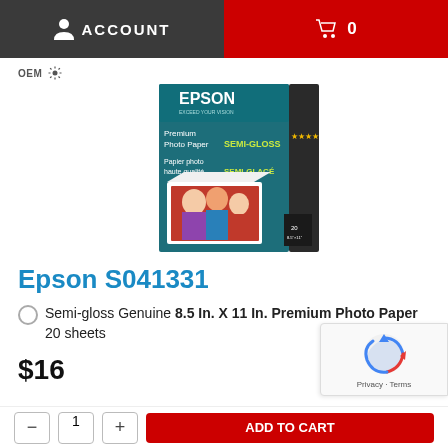ACCOUNT | 0
OEM
[Figure (photo): Epson Premium Photo Paper Semi-Gloss product box showing three people in a photo print]
Epson S041331
Semi-gloss Genuine 8.5 In. X 11 In. Premium Photo Paper 20 sheets
$16